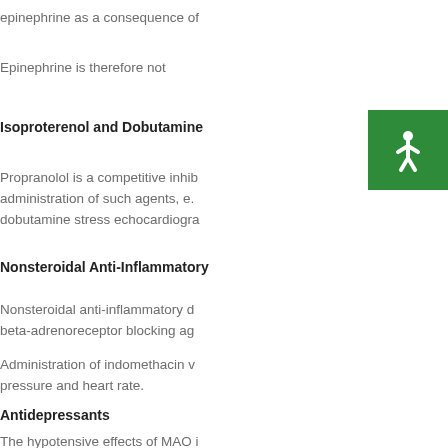epinephrine as a consequence of
Epinephrine is therefore not
Isoproterenol and Dobutamine
Propranolol is a competitive inhib administration of such agents, e. dobutamine stress echocardiogra
Nonsteroidal Anti-Inflammatory
Nonsteroidal anti-inflammatory d beta-adrenoreceptor blocking ag
Administration of indomethacin v pressure and heart rate.
Antidepressants
The hypotensive effects of MAO i